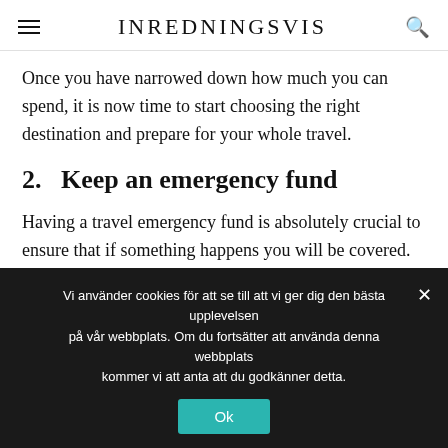INREDNINGSVIS
Once you have narrowed down how much you can spend, it is now time to start choosing the right destination and prepare for your whole travel.
2. Keep an emergency fund
Having a travel emergency fund is absolutely crucial to ensure that if something happens you will be covered. You should always take a part of your budget and allocate that to the emergency fund.
Vi använder cookies för att se till att vi ger dig den bästa upplevelsen på vår webbplats. Om du fortsätter att använda denna webbplats kommer vi att anta att du godkänner detta.